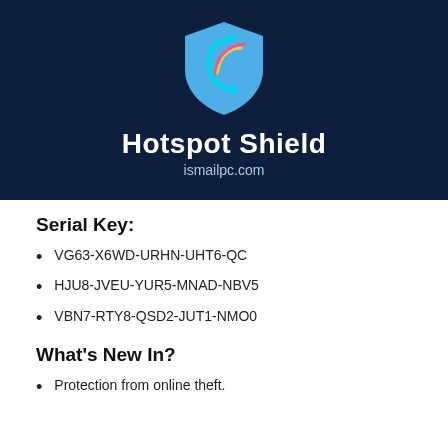[Figure (logo): Hotspot Shield logo: dark navy blue banner with a light blue shield icon containing a colorful swirl (cyan, pink, yellow arc). Below the shield: 'Hotspot Shield' in bold white text and 'ismailpc.com' in lighter blue text.]
Serial Key:
VG63-X6WD-URHN-UHT6-QC
HJU8-JVEU-YUR5-MNAD-NBV5
VBN7-RTY8-QSD2-JUT1-NMO0
What's New In?
Protection from online theft.